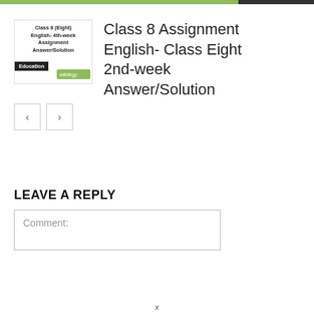[Figure (other): Thumbnail image showing Class 8 (Eight) English 4th-week Assignment Answer/Solution with Education badge and wikitegy logo]
Class 8 Assignment English- Class Eight 2nd-week Answer/Solution
[Figure (other): Navigation buttons: left arrow and right arrow]
LEAVE A REPLY
Comment: